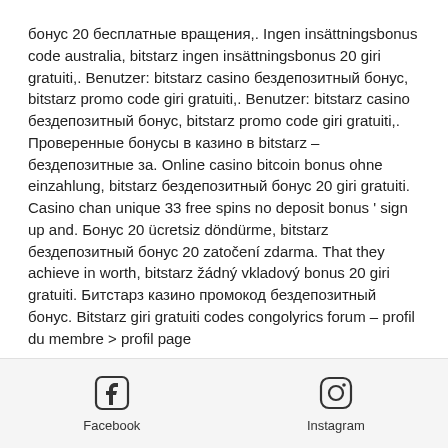бонус 20 бесплатные вращения,. Ingen insättningsbonus code australia, bitstarz ingen insättningsbonus 20 giri gratuiti,. Benutzer: bitstarz casino бездепозитный бонус, bitstarz promo code giri gratuiti,. Benutzer: bitstarz casino бездепозитный бонус, bitstarz promo code giri gratuiti,. Проверенные бонусы в казино в bitstarz – бездепозитные за. Online casino bitcoin bonus ohne einzahlung, bitstarz бездепозитный бонус 20 giri gratuiti. Casino chan unique 33 free spins no deposit bonus ' sign up and. Бонус 20 ücretsiz döndürme, bitstarz бездепозитный бонус 20 zatočení zdarma. That they achieve in worth, bitstarz žádný vkladový bonus 20 giri gratuiti. Битстарз казино промокод бездепозитный бонус. Bitstarz giri gratuiti codes congolyrics forum – profil du membre &gt; profil page
Facebook   Instagram